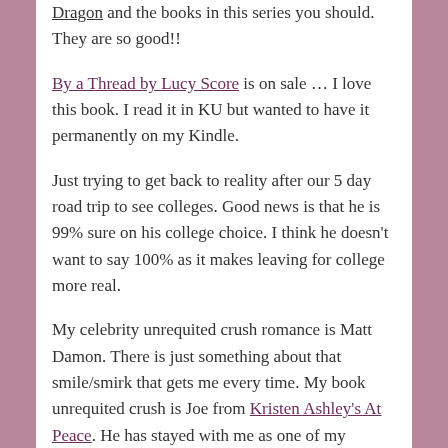Dragon and the books in this series you should. They are so good!!
By a Thread by Lucy Score is on sale … I love this book. I read it in KU but wanted to have it permanently on my Kindle.
Just trying to get back to reality after our 5 day road trip to see colleges. Good news is that he is 99% sure on his college choice. I think he doesn't want to say 100% as it makes leaving for college more real.
My celebrity unrequited crush romance is Matt Damon. There is just something about that smile/smirk that gets me every time. My book unrequited crush is Joe from Kristen Ashley's At Peace. He has stayed with me as one of my favorite heroes!
Rock Bottom Girl by Lucy Score is on sale…. If you need a few laughs, you will love this book. I